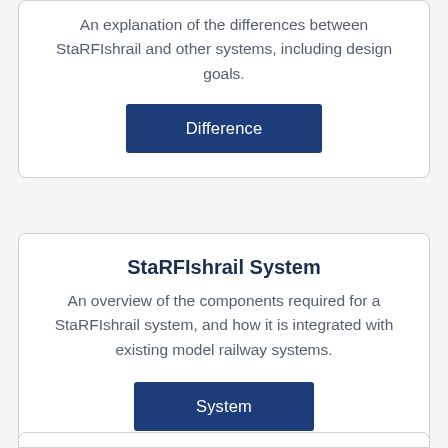An explanation of the differences between StaRFIshrail and other systems, including design goals.
Difference
StaRFIshrail System
An overview of the components required for a StaRFIshrail system, and how it is integrated with existing model railway systems.
System